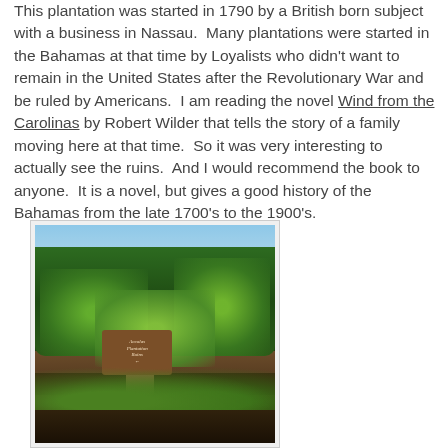This plantation was started in 1790 by a British born subject with a business in Nassau. Many plantations were started in the Bahamas at that time by Loyalists who didn't want to remain in the United States after the Revolutionary War and be ruled by Americans. I am reading the novel Wind from the Carolinas by Robert Wilder that tells the story of a family moving here at that time. So it was very interesting to actually see the ruins. And I would recommend the book to anyone. It is a novel, but gives a good history of the Bahamas from the late 1700's to the 1900's.
[Figure (photo): Outdoor photo showing tropical vegetation including palm trees and dense green shrubs, with a wooden sign post in the center that reads 'Accolas Plantation Ruins' with an arrow pointing left.]